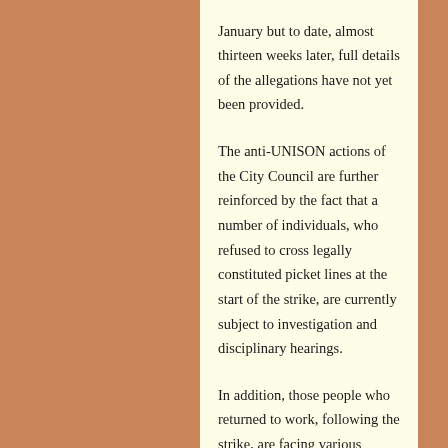January but to date, almost thirteen weeks later, full details of the allegations have not yet been provided.
The anti-UNISON actions of the City Council are further reinforced by the fact that a number of individuals, who refused to cross legally constituted picket lines at the start of the strike, are currently subject to investigation and disciplinary hearings.
In addition, those people who returned to work, following the strike, are facing various